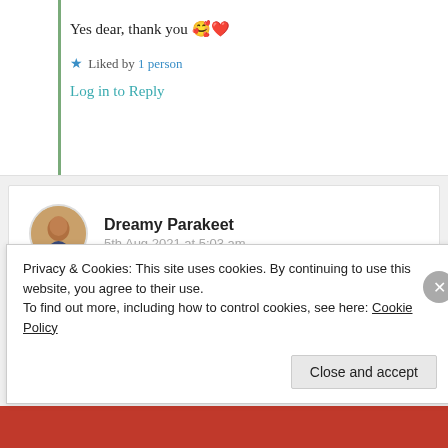Yes dear, thank you 🥰❤️
★ Liked by 1 person
Log in to Reply
Dreamy Parakeet
5th Aug 2021 at 5:03 am
Lovely ❤️
Privacy & Cookies: This site uses cookies. By continuing to use this website, you agree to their use.
To find out more, including how to control cookies, see here: Cookie Policy